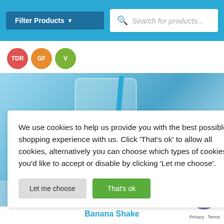Filter Products  Search for products...
[Figure (screenshot): Three circular badge icons: TDR (red), GF (orange), V (green)]
[Figure (photo): Photo of a banana shake in a glass with a blue straw on a blue wooden table surface with burlap fabric]
We use cookies to help us provide you with the best possible shopping experience with us. Click ‘That's ok’ to allow all cookies, alternatively you can choose which types of cookies you'd like to accept or disable by clicking ‘Let me choose’.
Let me choose   That's ok
Banana Shake